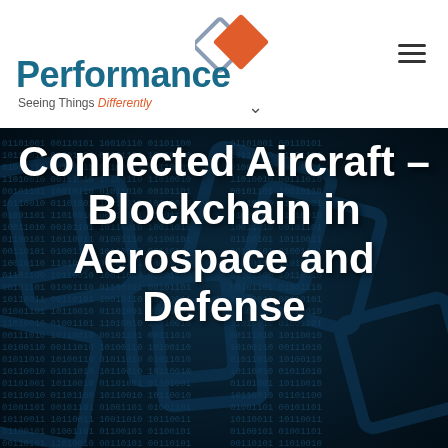[Figure (logo): Performance company logo with interlocking diamond shapes in orange and grey, tagline: Seeing Things Differently]
Connected Aircraft – Blockchain in Aerospace and Defense